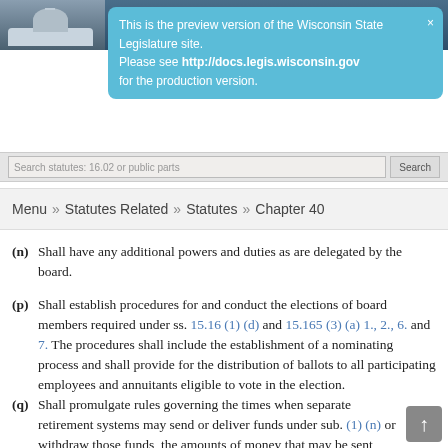Home — Wisconsin State Legislature website header with capitol building image
This is the preview version of the Wisconsin State Legislature site. Please see http://docs.legis.wisconsin.gov for the production version.
Search statutes: 16.02 or public parks | Search
Menu » Statutes Related » Statutes » Chapter 40
(n) Shall have any additional powers and duties as are delegated by the board.
(p) Shall establish procedures for and conduct the elections of board members required under ss. 15.16 (1) (d) and 15.165 (3) (a) 1., 2., 6. and 7. The procedures shall include the establishment of a nominating process and shall provide for the distribution of ballots to all participating employees and annuitants eligible to vote in the election.
(q) Shall promulgate rules governing the times when separate retirement systems may send or deliver funds under sub. (1) (n) or withdraw those funds, the amounts of money that may be sent, delivered or withdrawn, the valuation of